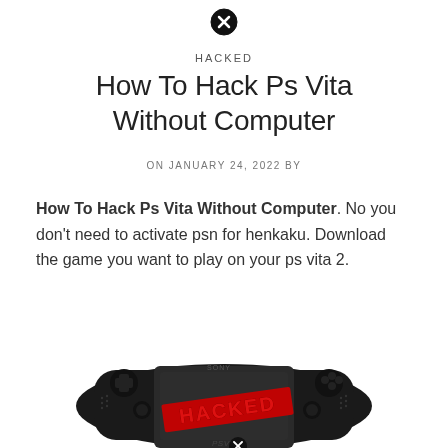[Figure (other): Close/X button icon at the top center of the page]
HACKED
How To Hack Ps Vita Without Computer
ON JANUARY 24, 2022 BY
How To Hack Ps Vita Without Computer. No you don't need to activate psn for henkaku. Download the game you want to play on your ps vita 2.
[Figure (photo): Photo of a Sony PS Vita handheld gaming console, black colored, with the word HACKED displayed in red text on the screen. PS Vita branding visible at bottom.]